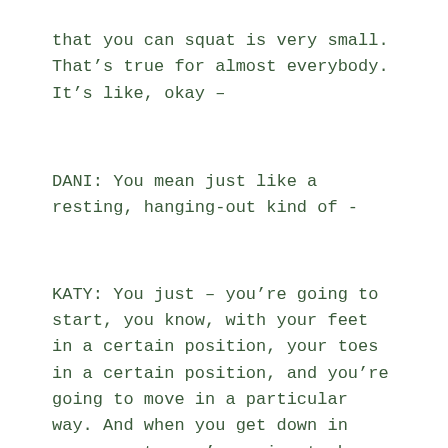that you can squat is very small. That's true for almost everybody. It's like, okay –
DANI: You mean just like a resting, hanging-out kind of -
KATY: You just – you're going to start, you know, with your feet in a certain position, your toes in a certain position, and you're going to move in a particular way. And when you get down in your squat, you're going to be like, okay, well, I'm going to fall backwards if I